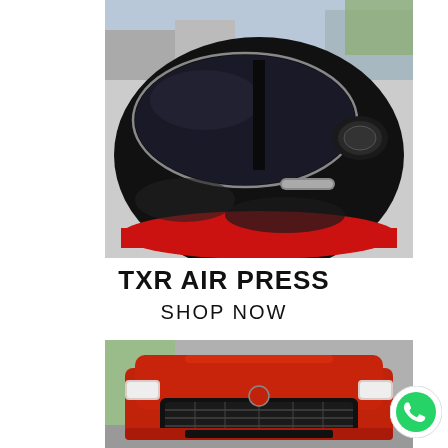[Figure (photo): Close-up of a black SUV car door with tinted windows and a red accent stripe at the bottom; chrome door handle and side mirror visible; outdoor urban background.]
TXR AIR PRESS
SHOP NOW
[Figure (photo): Front view of a red SUV with a wide grille, parked inside a garage with green wall visible on left side.]
[Figure (logo): WhatsApp green phone icon in a white circle button, positioned bottom-right.]